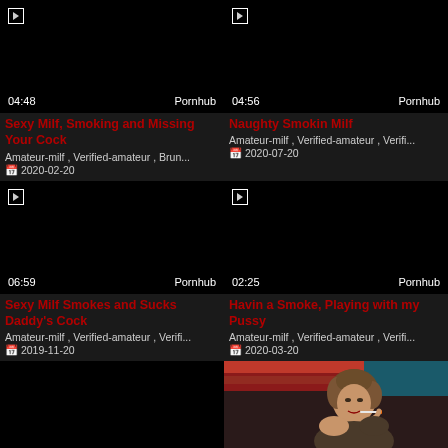[Figure (screenshot): Video thumbnail black with timestamp 04:48 and Pornhub watermark]
Sexy Milf, Smoking and Missing Your Cock
Amateur-milf , Verified-amateur , Brun...
2020-02-20
[Figure (screenshot): Video thumbnail black with timestamp 04:56 and Pornhub watermark]
Naughty Smokin Milf
Amateur-milf , Verified-amateur , Verifi...
2020-07-20
[Figure (screenshot): Video thumbnail black with timestamp 06:59 and Pornhub watermark]
Sexy Milf Smokes and Sucks Daddy's Cock
Amateur-milf , Verified-amateur , Verifi...
2019-11-20
[Figure (screenshot): Video thumbnail black with timestamp 02:25 and Pornhub watermark]
Havin a Smoke, Playing with my Pussy
Amateur-milf , Verified-amateur , Verifi...
2020-03-20
[Figure (screenshot): Black video thumbnail bottom left]
[Figure (photo): Woman with curly hair smoking a cigarette]